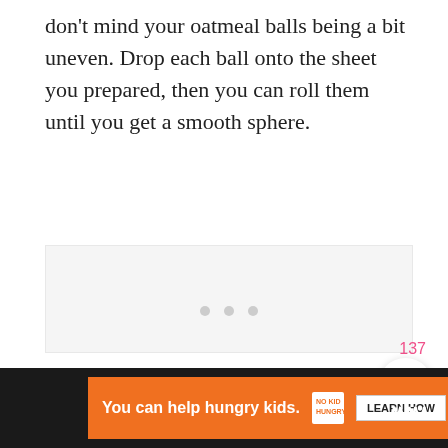don't mind your oatmeal balls being a bit uneven. Drop each ball onto the sheet you prepared, then you can roll them until you get a smooth sphere.
[Figure (photo): Image placeholder with three gray dots on a light gray background, indicating a loading or empty image area]
[Figure (infographic): UI overlay with heart/save button showing count 137 and a pink search/magnify button]
[Figure (infographic): Advertisement bar: orange ad reading 'You can help hungry kids.' with No Kid Hungry logo and LEARN HOW button, dark background with W logo]